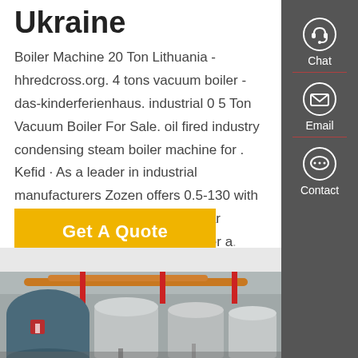Ukraine
Boiler Machine 20 Ton Lithuania - hhredcross.org. 4 tons vacuum boiler - das-kinderferienhaus. industrial 0 5 Ton Vacuum Boiler For Sale. oil fired industry condensing steam boiler machine for . Kefid · As a leader in industrial manufacturers Zozen offers 0.5-130 with pressure up to: 9.81MPa / 98.1bar industrial gas and steam hot water a.
[Figure (other): Yellow 'Get A Quote' button]
[Figure (photo): Industrial boiler room with large silver/stainless steel boilers, red and orange pipes on ceiling, and a blue cylindrical unit with a red logo on the left.]
[Figure (infographic): Dark grey sidebar with Chat (headset icon), Email (envelope icon), and Contact (speech bubble icon) options, each separated by a red divider line.]